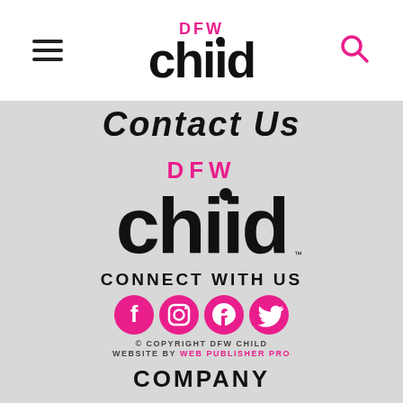DFW Child navigation bar with hamburger menu and search icon
Contact Us
[Figure (logo): DFW Child logo — large black sans-serif 'chiid' text with pink 'DFW' above]
CONNECT WITH US
[Figure (infographic): Social media icons: Facebook, Instagram, Pinterest, Twitter — all in pink/magenta color]
© COPYRIGHT DFW CHILD
WEBSITE BY WEB PUBLISHER PRO
COMPANY